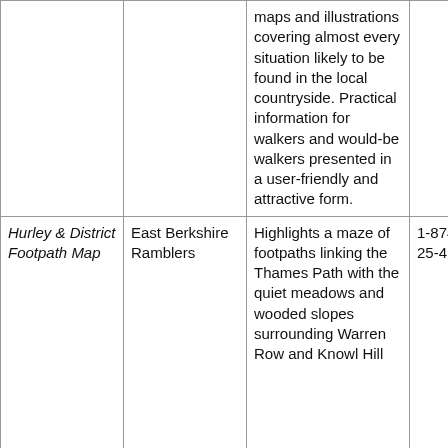|  |  | maps and illustrations covering almost every situation likely to be found in the local countryside. Practical information for walkers and would-be walkers presented in a user-friendly and attractive form. |  |
| Hurley & District Footpath Map | East Berkshire Ramblers | Highlights a maze of footpaths linking the Thames Path with the quiet meadows and wooded slopes surrounding Warren Row and Knowl Hill | 1-874258-25-4 |